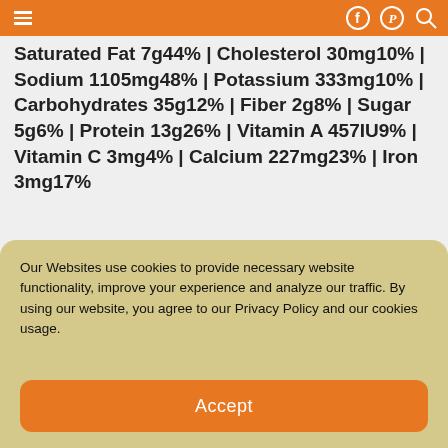Navigation header with hamburger menu, Facebook, Pinterest, and search icons
Saturated Fat 7g44% | Cholesterol 30mg10% | Sodium 1105mg48% | Potassium 333mg10% | Carbohydrates 35g12% | Fiber 2g8% | Sugar 5g6% | Protein 13g26% | Vitamin A 457IU9% | Vitamin C 3mg4% | Calcium 227mg23% | Iron 3mg17%
[Figure (photo): Circular photo of a pizza topped with cheese, pepperoni, and vegetables]
Our Websites use cookies to provide necessary website functionality, improve your experience and analyze our traffic. By using our website, you agree to our Privacy Policy and our cookies usage.
Accept